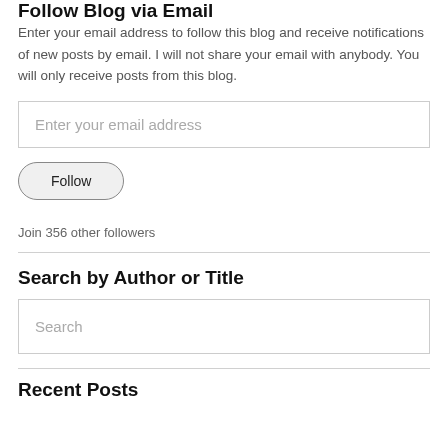Follow Blog via Email
Enter your email address to follow this blog and receive notifications of new posts by email. I will not share your email with anybody. You will only receive posts from this blog.
Enter your email address
Follow
Join 356 other followers
Search by Author or Title
Search
Recent Posts